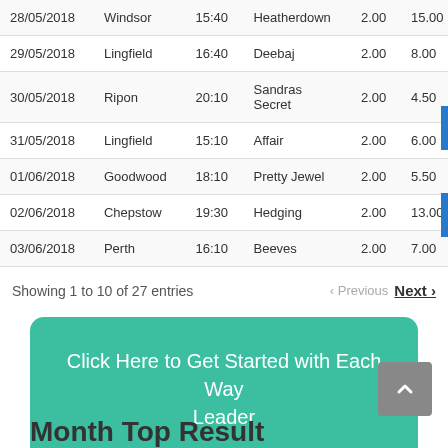| Date | Venue | Time | Horse | Stake | SP |
| --- | --- | --- | --- | --- | --- |
| 28/05/2018 | Windsor | 15:40 | Heatherdown | 2.00 | 15.00 |
| 29/05/2018 | Lingfield | 16:40 | Deebaj | 2.00 | 8.00 |
| 30/05/2018 | Ripon | 20:10 | Sandras Secret | 2.00 | 4.50 |
| 31/05/2018 | Lingfield | 15:10 | Affair | 2.00 | 6.00 |
| 01/06/2018 | Goodwood | 18:10 | Pretty Jewel | 2.00 | 5.50 |
| 02/06/2018 | Chepstow | 19:30 | Hedging | 2.00 | 13.00 |
| 03/06/2018 | Perth | 16:10 | Beeves | 2.00 | 7.00 |
Showing 1 to 10 of 27 entries
Click Here to Get Started with Each Way Leader
Month Top Result